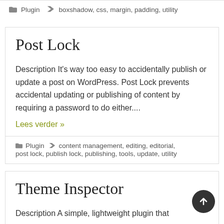Plugin   boxshadow, css, margin, padding, utility
Post Lock
Description It's way too easy to accidentally publish or update a post on WordPress. Post Lock prevents accidental updating or publishing of content by requiring a password to do either....
Lees verder »
Plugin   content management, editing, editorial, post lock, publish lock, publishing, tools, update, utility
Theme Inspector
Description A simple, lightweight plugin that